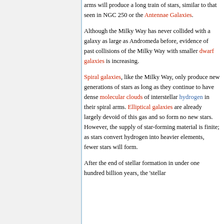arms will produce a long train of stars, similar to that seen in NGC 250 or the Antennae Galaxies.
Although the Milky Way has never collided with a galaxy as large as Andromeda before, evidence of past collisions of the Milky Way with smaller dwarf galaxies is increasing.
Spiral galaxies, like the Milky Way, only produce new generations of stars as long as they continue to have dense molecular clouds of interstellar hydrogen in their spiral arms. Elliptical galaxies are already largely devoid of this gas and so form no new stars. However, the supply of star-forming material is finite; as stars convert hydrogen into heavier elements, fewer stars will form.
After the end of stellar formation in under one hundred billion years, the 'stellar...